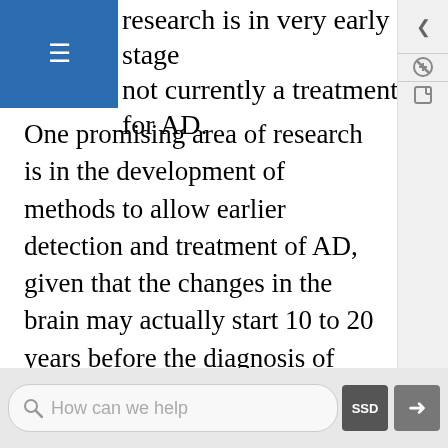eurons. But this research is in very early stage not currently a treatment for AD.
One promising area of research is in the development of methods to allow earlier detection and treatment of AD, given that the changes in the brain may actually start 10 to 20 years before the diagnosis of AD. For example, a radiolabeled chemical called Pittsburgh Compound B (PiB) binds to amyloid plaques in the brain and in the future may be used in conjunction with brain imaging techniques to detect early signs of AD. Scientists are also looking for biomarkers in bodily fluids such as blood and cerebrospinal fluid that might indicate the presence of AD before symptoms appear. Finally, researchers are also investigating possible early and subtle symptoms, such as changes in how
How can we help